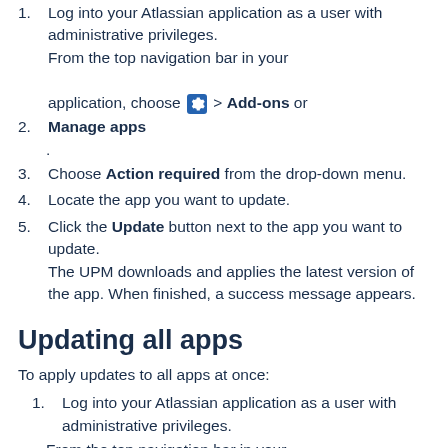Log into your Atlassian application as a user with administrative privileges. From the top navigation bar in your application, choose [gear icon] > Add-ons or Manage apps.
.
Choose Action required from the drop-down menu.
Locate the app you want to update.
Click the Update button next to the app you want to update. The UPM downloads and applies the latest version of the app. When finished, a success message appears.
Updating all apps
To apply updates to all apps at once:
Log into your Atlassian application as a user with administrative privileges.
From the top navigation bar in your